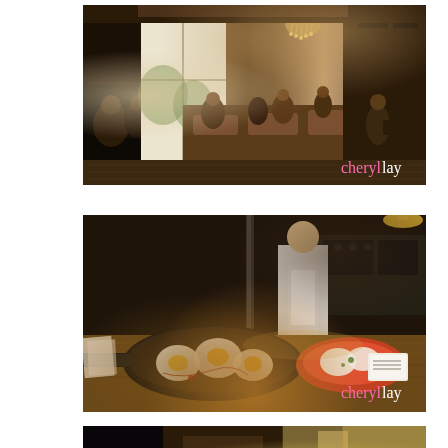[Figure (photo): Restaurant interior with diners seated at tables, large windows with natural light, chandelier hanging from ceiling, warm wood tones, busy dining room with staff visible. Watermark 'cheryllay' in pink and white text in bottom right corner.]
[Figure (photo): Kitchen or restaurant counter scene showing a cast iron pan with eggs and food in the foreground, another dish visible to the right, chef/staff member visible in background wearing apron, dark moody lighting. Watermark 'cheryllay' in pink and white text in bottom right corner.]
[Figure (photo): Partial view of another restaurant photo, cropped at bottom of page, showing dark interior with warm highlights.]